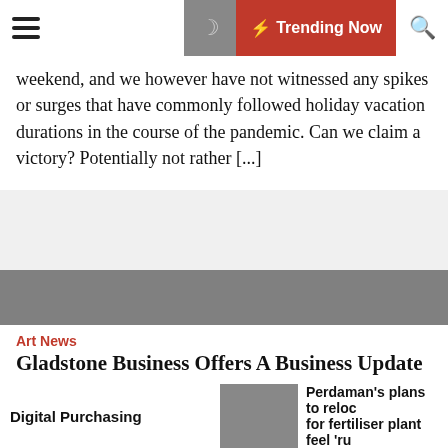Trending Now
weekend, and we however have not witnessed any spikes or surges that have commonly followed holiday vacation durations in the course of the pandemic. Can we claim a victory? Potentially not rather [...]
[Figure (photo): Gray placeholder image for article]
Art News
Gladstone Business Offers A Business Update
Digital Purchasing | Perdaman's plans to reloc for fertiliser plant feel 'ru